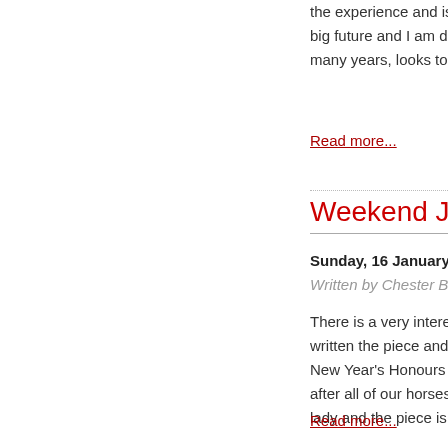the experience and is now pr big future and I am delighted many years, looks to have a
Read more...
Weekend Jottings
Sunday, 16 January 2011 00:
Written by Chester Barnes
There is a very interesting a written the piece and he talks New Year's Honours List.  Ma after all of our horses as well lady and the piece is well wo
Read more...